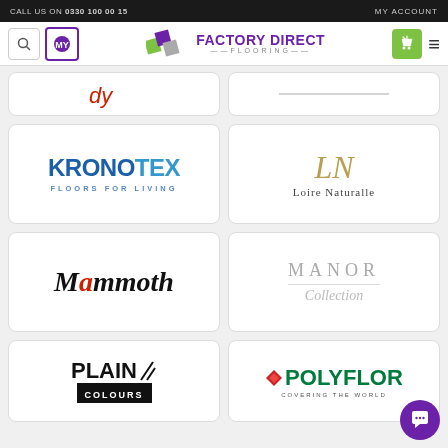CALL US ON 0330 100 00 15   MY ACCOUNT
[Figure (logo): Factory Direct Flooring navigation bar with search icon, My Rewards icon, logo, cart and hamburger menu]
[Figure (logo): Partial brand card row (partially visible at top)]
[Figure (logo): KRONOTEX - FLOORS FOR LIVING brand logo]
[Figure (logo): Loire Naturalle brand logo with LN monogram]
[Figure (logo): Mammoth brand logo]
[Figure (logo): MANOR Collection brand logo]
[Figure (logo): PLAIN COLOURS brand logo]
[Figure (logo): POLYFLOR - COVERING THE WORLD brand logo (partially visible)]